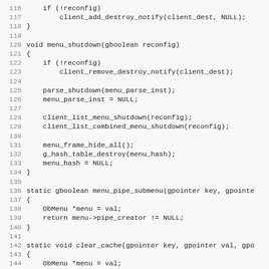Source code listing lines 116-147, showing C code for menu_shutdown and related static functions.